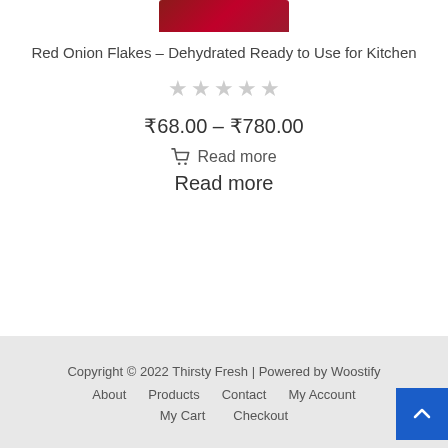[Figure (photo): Partial product image showing top portion of Red Onion Flakes package, dark red/maroon color]
Red Onion Flakes – Dehydrated Ready to Use for Kitchen
[Figure (other): 5-star rating widget showing 0 stars filled out of 5 (all grey stars)]
₹68.00 – ₹780.00
🛒 Read more
Read more
Copyright © 2022 Thirsty Fresh | Powered by Woostify
About   Products   Contact   My Account
My Cart   Checkout